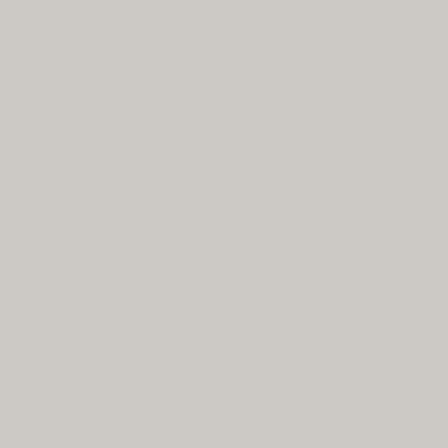Once there was only one place I used to call “home”… Now there are two, the second being . If I count another place –
Baked sticky glazed chicken wings
I am “share and taste from everyone’s plate” kinda gal. You’ve seen the most important part, right? I do share! I suppose it should be
Vegan filo pastry and fruit tarts
We all have this “not enough